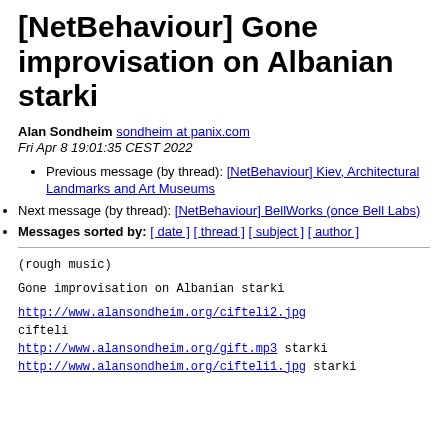[NetBehaviour] Gone improvisation on Albanian starki
Alan Sondheim sondheim at panix.com
Fri Apr 8 19:01:35 CEST 2022
Previous message (by thread): [NetBehaviour] Kiev, Architectural Landmarks and Art Museums
Next message (by thread): [NetBehaviour] BellWorks (once Bell Labs)
Messages sorted by: [ date ] [ thread ] [ subject ] [ author ]
(rough music)

Gone improvisation on Albanian starki

http://www.alansondheim.org/cifteli2.jpg cifteli
http://www.alansondheim.org/gift.mp3 starki
http://www.alansondheim.org/cifteli1.jpg starki